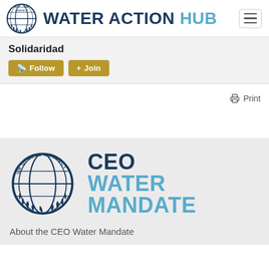WATER ACTION HUB
Solidaridad
Follow  Join
Print
[Figure (logo): CEO Water Mandate logo with UN Global Compact globe emblem and text reading CEO WATER MANDATE]
About the CEO Water Mandate